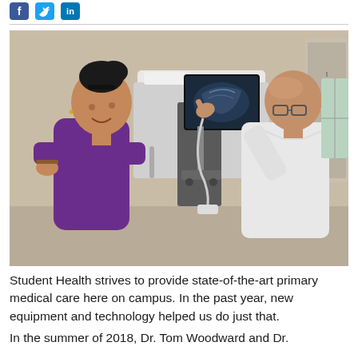[Figure (photo): Social media icons: Facebook (blue square with 'f'), Twitter (blue bird icon), LinkedIn (blue square with 'in')]
[Figure (photo): A female patient in purple scrubs smiling at a male doctor who is pointing to an ultrasound display screen on a medical cart in a clinical room.]
Student Health strives to provide state-of-the-art primary medical care here on campus. In the past year, new equipment and technology helped us do just that.
In the summer of 2018, Dr. Tom Woodward and Dr.